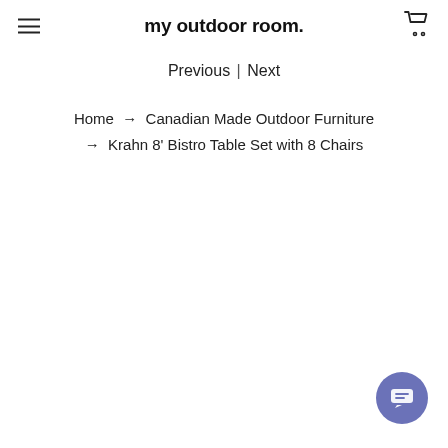my outdoor room.
Previous | Next
Home → Canadian Made Outdoor Furniture → Krahn 8' Bistro Table Set with 8 Chairs